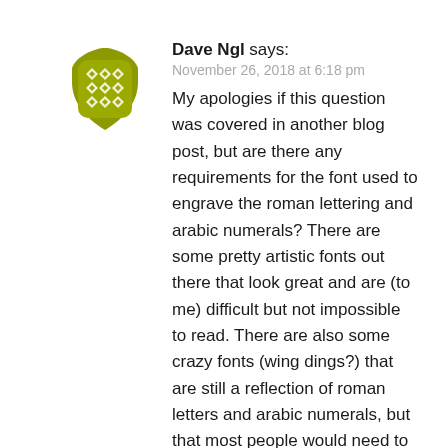[Figure (illustration): Olive/yellow-green decorative avatar icon with diamond/geometric pattern]
Dave Ngl says:
November 26, 2018 at 6:18 pm
My apologies if this question was covered in another blog post, but are there any requirements for the font used to engrave the roman lettering and arabic numerals? There are some pretty artistic fonts out there that look great and are (to me) difficult but not impossible to read. There are also some crazy fonts (wing dings?) that are still a reflection of roman letters and arabic numerals, but that most people would need to look up in order to be able to read it. Is there anything from ATF that limits engraving to specific fonts?